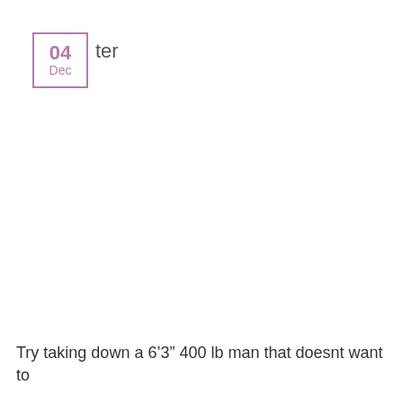04 Dec ter
Try taking down a 6’3” 400 lb man that doesnt want to